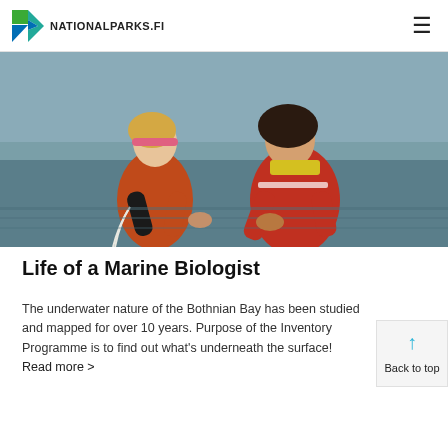NATIONALPARKS.FI
[Figure (photo): Two researchers in orange/red survival suits working in shallow water of Bothnian Bay, examining something on the surface]
Life of a Marine Biologist
The underwater nature of the Bothnian Bay has been studied and mapped for over 10 years. Purpose of the Inventory Programme is to find out what's underneath the surface! Read more >